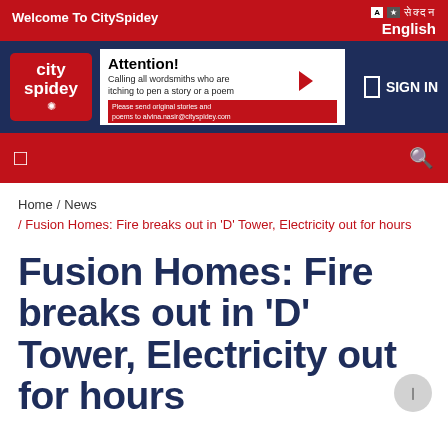Welcome To CitySpidey
[Figure (logo): CitySpidey logo with spider icon on red background]
[Figure (infographic): Advertisement banner: Attention! Calling all wordsmiths who are itching to pen a story or a poem. Please send original stories and poems to alvina.nasir@cityspidey.com]
Home / News / Fusion Homes: Fire breaks out in 'D' Tower, Electricity out for hours
Fusion Homes: Fire breaks out in 'D' Tower, Electricity out for hours